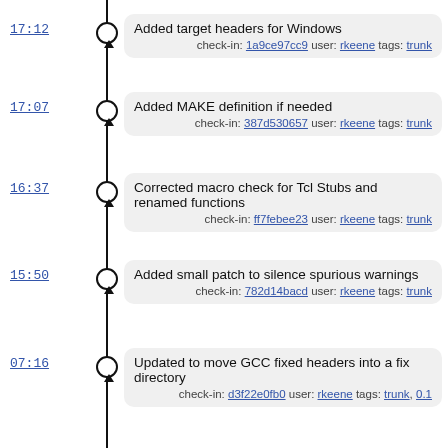17:12 — Added target headers for Windows
check-in: 1a9ce97cc9 user: rkeene tags: trunk
17:07 — Added MAKE definition if needed
check-in: 387d530657 user: rkeene tags: trunk
16:37 — Corrected macro check for Tcl Stubs and renamed functions
check-in: ff7febee23 user: rkeene tags: trunk
15:50 — Added small patch to silence spurious warnings
check-in: 782d14bacd user: rkeene tags: trunk
07:16 — Updated to move GCC fixed headers into a fix directory
check-in: d3f22e0fb0 user: rkeene tags: trunk, 0.1
07:08 — Experimenting with compiling libtcc1.a with gcc
check-in: 8a389f5b8d user: rkeene tags: trunk
06:41 — Windows fixups